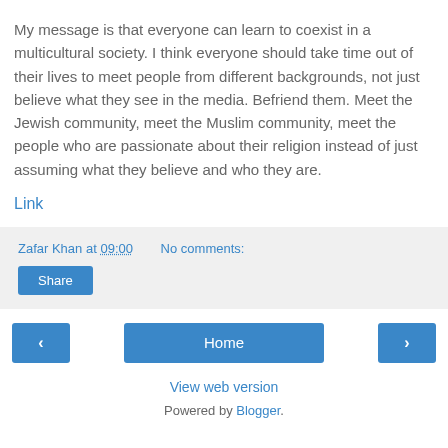My message is that everyone can learn to coexist in a multicultural society. I think everyone should take time out of their lives to meet people from different backgrounds, not just believe what they see in the media. Befriend them. Meet the Jewish community, meet the Muslim community, meet the people who are passionate about their religion instead of just assuming what they believe and who they are.
Link
Zafar Khan at 09:00   No comments:
Share
‹
Home
›
View web version
Powered by Blogger.